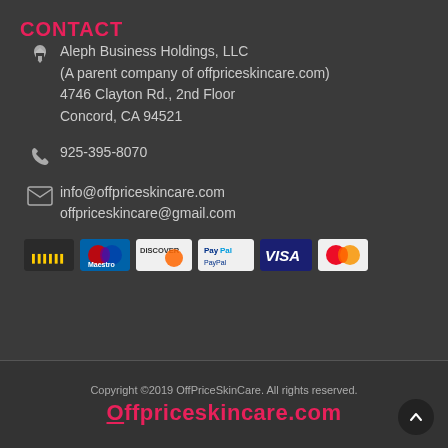CONTACT
Aleph Business Holdings, LLC
(A parent company of offpriceskincare.com)
4746 Clayton Rd., 2nd Floor
Concord, CA 94521
925-395-8070
info@offpriceskincare.com
offpriceskincare@gmail.com
[Figure (other): Payment method badges: Maestro, Discover, PayPal, VISA, MasterCard]
Copyright ©2019 OffPriceSkinCare. All rights reserved.
Offpriceskincare.com